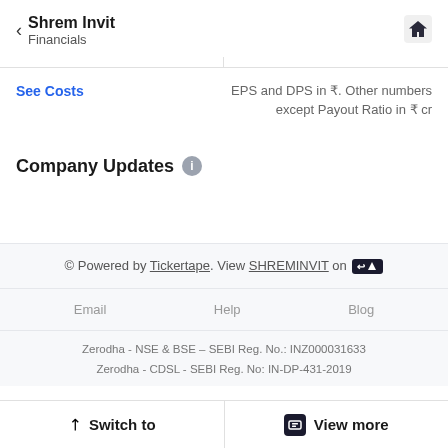Shrem Invit
Financials
See Costs
EPS and DPS in ₹. Other numbers except Payout Ratio in ₹ cr
Company Updates
© Powered by Tickertape. View SHREMINVIT on [Tickertape]
Email    Help    Blog
Zerodha - NSE & BSE – SEBI Reg. No.: INZ000031633
Zerodha - CDSL - SEBI Reg. No: IN-DP-431-2019
Switch to    View more